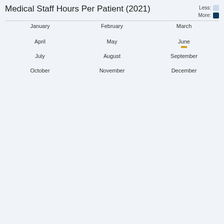Medical Staff Hours Per Patient (2021)
[Figure (other): Calendar heatmap showing medical staff hours per patient for each month of 2021, with color intensity from light blue (less) to dark blue (more). June has one highlighted cell with a yellow/gold border.]